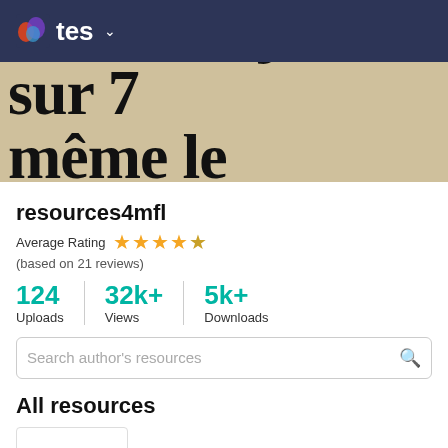tes
[Figure (screenshot): Cropped newspaper/document image showing large bold French text: 'Ouvert 7 jours sur 7 même le dimanche']
resources4mfl
Average Rating ★★★★☆ (based on 21 reviews)
124 Uploads | 32k+ Views | 5k+ Downloads
Search author's resources
All resources